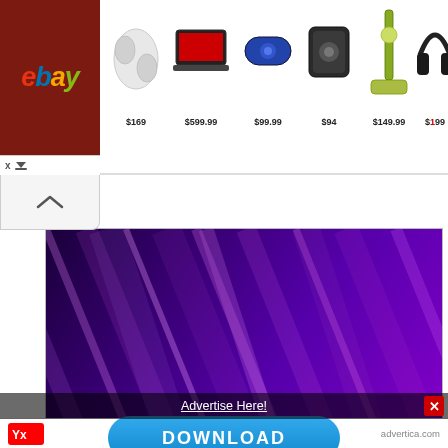[Figure (screenshot): eBay advertisement banner showing earbuds $169, laptop $599.99, speaker $99.99, portable speaker $94, vacuum $149.99, headphones (price cut off)]
[Figure (photo): Purple diagonal stripes wallpaper image for Samsung Galaxy S20]
10 Wallpapers That Will Look Perfect On Your Samsung Galaxy S20 – #07 – Purple Diagonal
[Figure (screenshot): Advertise Here! overlay bar with red close X button]
[Figure (screenshot): DOWNLOAD button in blue rounded rectangle]
[Figure (logo): Yandex logo and advertica.com text in bottom bar]